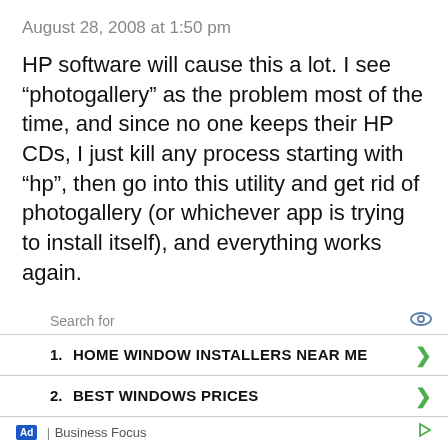August 28, 2008 at 1:50 pm
HP software will cause this a lot. I see “photogallery” as the problem most of the time, and since no one keeps their HP CDs, I just kill any process starting with “hp”, then go into this utility and get rid of photogallery (or whichever app is trying to install itself), and everything works again.
Search for
1. HOME WINDOW INSTALLERS NEAR ME
2. BEST WINDOWS PRICES
Ad | Business Focus